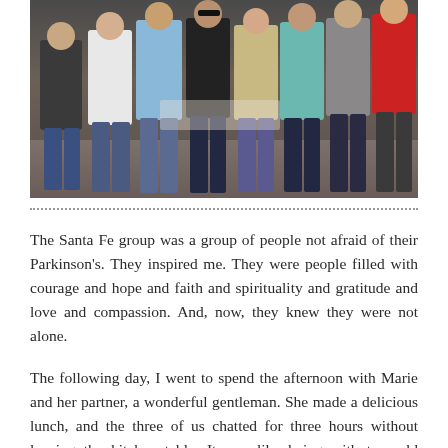[Figure (photo): A group of people standing together indoors, posing for a photo. The group includes men and women of various ages dressed casually.]
The Santa Fe group was a group of people not afraid of their Parkinson's. They inspired me. They were people filled with courage and hope and faith and spirituality and gratitude and love and compassion. And, now, they knew they were not alone.
The following day, I went to spend the afternoon with Marie and her partner, a wonderful gentleman. She made a delicious lunch, and the three of us chatted for three hours without leaving the kitchen table. It was like being with two old friends, the three of us just talking about life. The second part of her visit. Marie's kitchen was Sunday and it